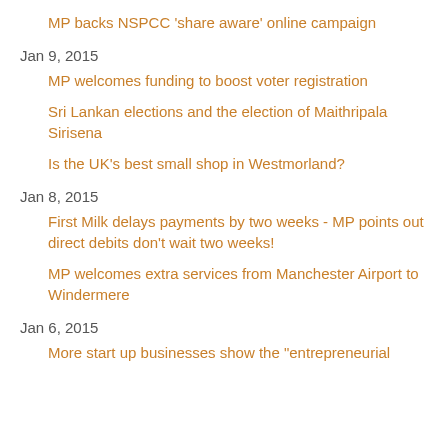MP backs NSPCC 'share aware' online campaign
Jan 9, 2015
MP welcomes funding to boost voter registration
Sri Lankan elections and the election of Maithripala Sirisena
Is the UK's best small shop in Westmorland?
Jan 8, 2015
First Milk delays payments by two weeks - MP points out direct debits don't wait two weeks!
MP welcomes extra services from Manchester Airport to Windermere
Jan 6, 2015
More start up businesses show the "entrepreneurial